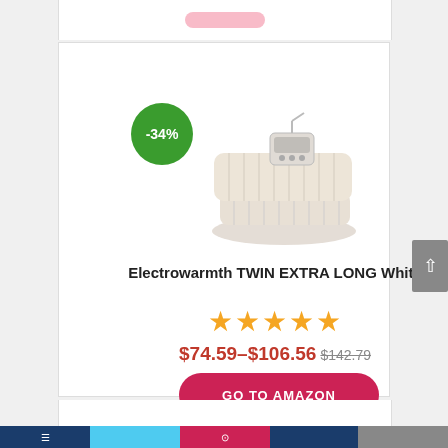[Figure (screenshot): Product listing card for Electrowarmth TWIN EXTRA LONG White electric blanket on a shopping/review website. Shows a -34% green discount badge, product image of a folded white electric blanket with controller, 5 orange stars, price range $74.59–$106.56 with crossed-out original price $142.79, and a red 'GO TO AMAZON' button.]
-34%
Electrowarmth TWIN EXTRA LONG White
★★★★★
$74.59–$106.56 $142.79
GO TO AMAZON